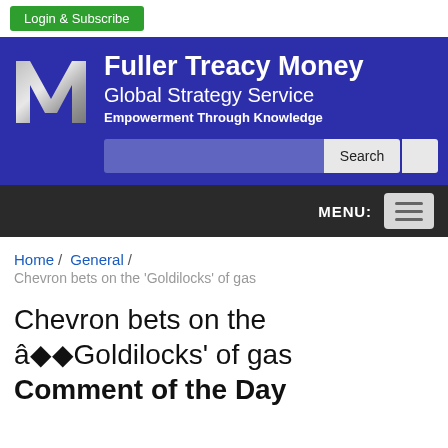[Figure (logo): Login & Subscribe green button at top of page]
Fuller Treacy Money Global Strategy Service Empowering Through Knowledge
[Figure (screenshot): Fuller Treacy Money website header banner with silver M logo, blue background, site name, tagline, and search bar]
Home / General / Chevron bets on the 'Goldilocks' of gas
Chevron bets on the âGoldilocks' of gas Comment of the Day